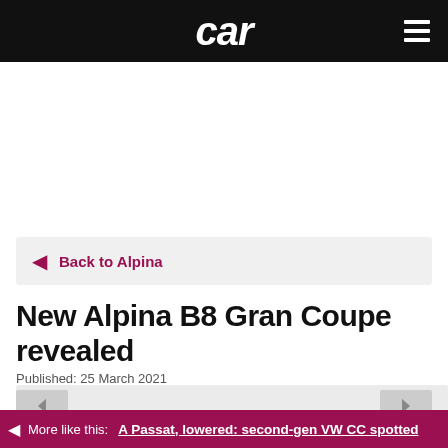car
← Back to Alpina
New Alpina B8 Gran Coupe revealed
Published: 25 March 2021
[Figure (photo): Article image placeholder (grey box with navigation arrows)]
More like this: A Passat, lowered: second-gen VW CC spotted